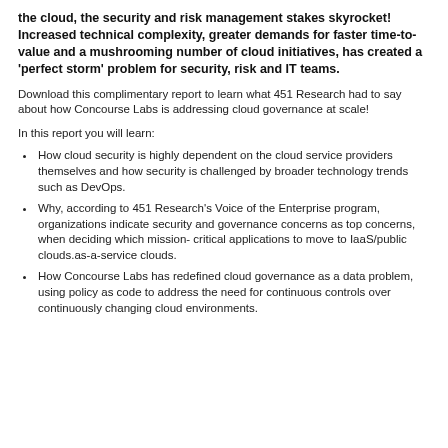the cloud, the security and risk management stakes skyrocket! Increased technical complexity, greater demands for faster time-to-value and a mushrooming number of cloud initiatives, has created a 'perfect storm' problem for security, risk and IT teams.
Download this complimentary report to learn what 451 Research had to say about how Concourse Labs is addressing cloud governance at scale!
In this report you will learn:
How cloud security is highly dependent on the cloud service providers themselves and how security is challenged by broader technology trends such as DevOps.
Why, according to 451 Research's Voice of the Enterprise program, organizations indicate security and governance concerns as top concerns, when deciding which mission- critical applications to move to IaaS/public clouds.as-a-service clouds.
How Concourse Labs has redefined cloud governance as a data problem, using policy as code to address the need for continuous controls over continuously changing cloud environments.